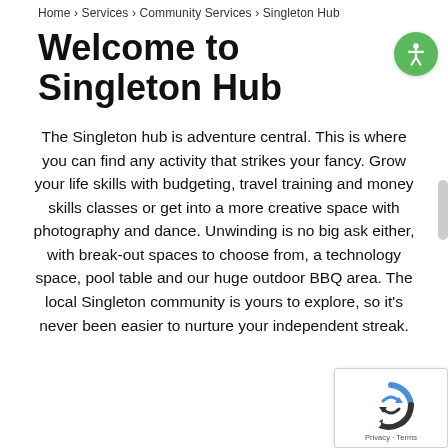Home › Services › Community Services › Singleton Hub
Welcome to Singleton Hub
The Singleton hub is adventure central. This is where you can find any activity that strikes your fancy. Grow your life skills with budgeting, travel training and money skills classes or get into a more creative space with photography and dance. Unwinding is no big ask either, with break-out spaces to choose from, a technology space, pool table and our huge outdoor BBQ area. The local Singleton community is yours to explore, so it's never been easier to nurture your independent streak.